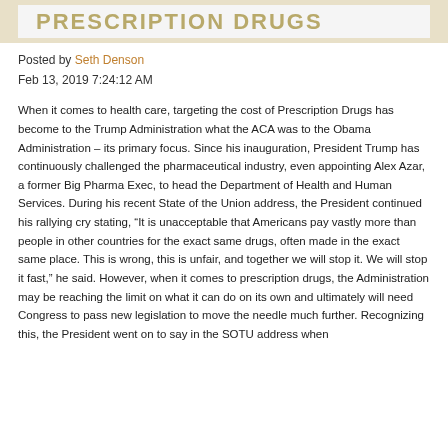PRESCRIPTION DRUGS
Posted by Seth Denson
Feb 13, 2019 7:24:12 AM
When it comes to health care, targeting the cost of Prescription Drugs has become to the Trump Administration what the ACA was to the Obama Administration – its primary focus. Since his inauguration, President Trump has continuously challenged the pharmaceutical industry, even appointing Alex Azar, a former Big Pharma Exec, to head the Department of Health and Human Services. During his recent State of the Union address, the President continued his rallying cry stating, “It is unacceptable that Americans pay vastly more than people in other countries for the exact same drugs, often made in the exact same place. This is wrong, this is unfair, and together we will stop it. We will stop it fast,” he said. However, when it comes to prescription drugs, the Administration may be reaching the limit on what it can do on its own and ultimately will need Congress to pass new legislation to move the needle much further. Recognizing this, the President went on to say in the SOTU address when